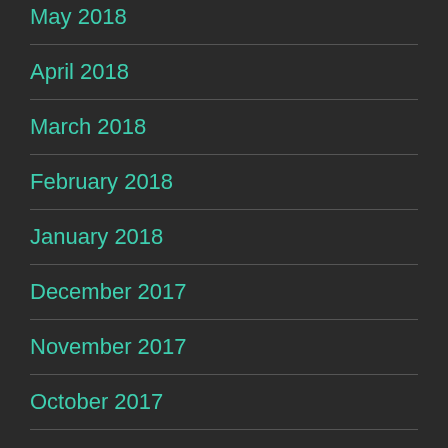May 2018
April 2018
March 2018
February 2018
January 2018
December 2017
November 2017
October 2017
September 2017